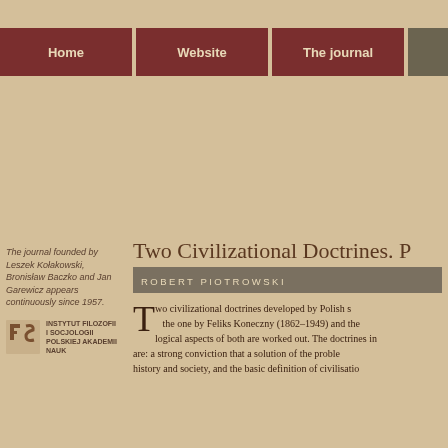Home | Website | The journal
The journal founded by Leszek Kołakowski, Bronisław Baczko and Jan Garewicz appears continuously since 1957.
[Figure (logo): Instytut Filozofii i Socjologii Polskiej Akademii Nauk logo]
Two Civilizational Doctrines.
ROBERT PIOTROWSKI
Two civilizational doctrines developed by Polish s... the one by Feliks Koneczny (1862–1949) and th... logical aspects of both are worked out. The doctrines in... are: a strong conviction that a solution of the proble... history and society, and the basic definition of civilisatio...